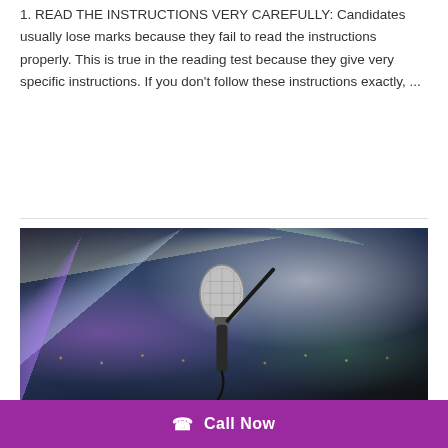1. READ THE INSTRUCTIONS VERY CAREFULLY: Candidates usually lose marks because they fail to read the instructions properly. This is true in the reading test because they give very specific instructions. If you don't follow these instructions exactly, ...
Read More »
[Figure (photo): A microphone on a stand in the foreground of a stage, with a crowd and colorful stage lights in the background.]
Call Now